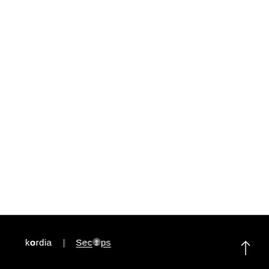[Figure (logo): Kordia SecOps logo lockup in white text on black background footer, with an upward arrow icon on the right]